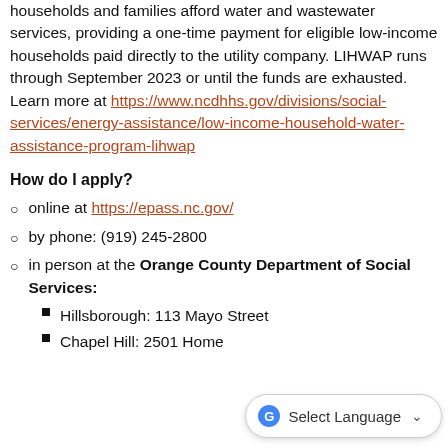households and families afford water and wastewater services, providing a one-time payment for eligible low-income households paid directly to the utility company. LIHWAP runs through September 2023 or until the funds are exhausted. Learn more at https://www.ncdhhs.gov/divisions/social-services/energy-assistance/low-income-household-water-assistance-program-lihwap
How do I apply?
online at https://epass.nc.gov/
by phone: (919) 245-2800
in person at the Orange County Department of Social Services:
Hillsborough: 113 Mayo Street
Chapel Hill: 2501 Home...